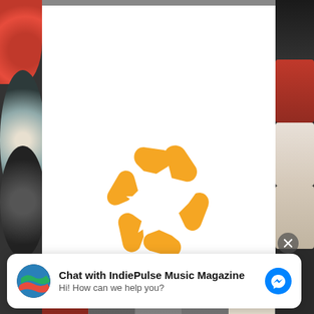[Figure (logo): Music House Call logo: orange flower/star shape with arrow-like petals and white star cutout in center, with 'Music House Call' text below in orange]
[Figure (screenshot): Facebook Messenger chat widget: avatar of IndiePulse Music Magazine, bold text 'Chat with IndiePulse Music Magazine', subtitle 'Hi! How can we help you?', blue Messenger icon button, close X button]